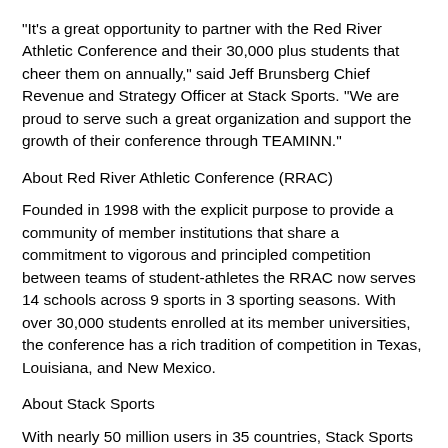"It's a great opportunity to partner with the Red River Athletic Conference and their 30,000 plus students that cheer them on annually," said Jeff Brunsberg Chief Revenue and Strategy Officer at Stack Sports. "We are proud to serve such a great organization and support the growth of their conference through TEAMINN."
About Red River Athletic Conference (RRAC)
Founded in 1998 with the explicit purpose to provide a community of member institutions that share a commitment to vigorous and principled competition between teams of student-athletes the RRAC now serves 14 schools across 9 sports in 3 sporting seasons. With over 30,000 students enrolled at its member universities, the conference has a rich tradition of competition in Texas, Louisiana, and New Mexico.
About Stack Sports
With nearly 50 million users in 35 countries, Stack Sports is a global technology leader in SaaS platform offerings